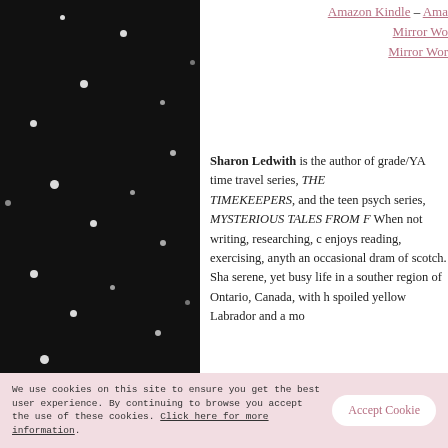[Figure (photo): Dark background with scattered white bokeh dots, like a night sky or glitter effect, spanning the left column of the page.]
Amazon Kindle – Ama Mirror Wo Mirror Wor
Sharon Ledwith is the author of grade/YA time travel series, THE TIMEKEEPERS, and the teen psych series, MYSTERIOUS TALES FROM F When not writing, researching, c enjoys reading, exercising, anyth an occasional dram of scotch. Sha serene, yet busy life in a souther region of Ontario, Canada, with h spoiled yellow Labrador and a mo
Learn more about Sharon Ledwi
We use cookies on this site to ensure you get the best user experience. By continuing to browse you accept the use of these cookies. Click here for more information.